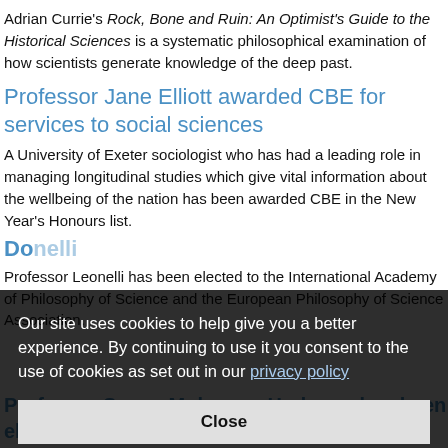Adrian Currie's Rock, Bone and Ruin: An Optimist's Guide to the Historical Sciences is a systematic philosophical examination of how scientists generate knowledge of the deep past.
Professor Jane Elliott awarded CBE for services to social sciences
A University of Exeter sociologist who has had a leading role in managing longitudinal studies which give vital information about the wellbeing of the nation has been awarded CBE in the New Year's Honours list.
Do... onelli
Professor Leonelli has been elected to the International Academy of Philosophy of Science and the European Philosophy of Science Association.
Our site uses cookies to help give you a better experience. By continuing to use it you consent to the use of cookies as set out in our privacy policy
Professor Susan Molyneux-Hodgson has been elected as President of SHARE